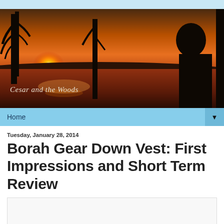[Figure (photo): Outdoor sunset scene with trees silhouetted against an orange-red sun over a lake, with a person's profile visible on the right side. Text overlay reads 'Cesar and the Woods'.]
Home ▼
Tuesday, January 28, 2014
Borah Gear Down Vest: First Impressions and Short Term Review
[Figure (photo): Placeholder image area (white/light gray rectangle)]